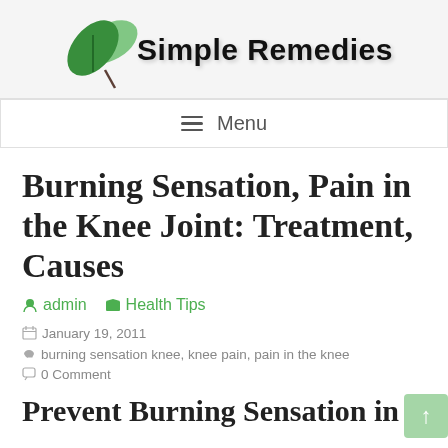Simple Remedies
≡ Menu
Burning Sensation, Pain in the Knee Joint: Treatment, Causes
admin  Health Tips
January 19, 2011  burning sensation knee, knee pain, pain in the knee  0 Comment
Prevent Burning Sensation in